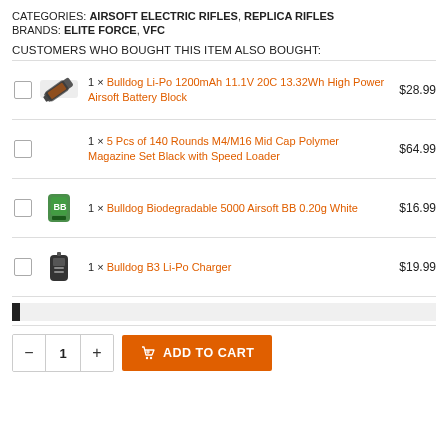CATEGORIES: AIRSOFT ELECTRIC RIFLES, REPLICA RIFLES
BRANDS: ELITE FORCE, VFC
CUSTOMERS WHO BOUGHT THIS ITEM ALSO BOUGHT:
|  |  | Product | Price |
| --- | --- | --- | --- |
| ☐ | [battery img] | 1 × Bulldog Li-Po 1200mAh 11.1V 20C 13.32Wh High Power Airsoft Battery Block | $28.99 |
| ☐ |  | 1 × 5 Pcs of 140 Rounds M4/M16 Mid Cap Polymer Magazine Set Black with Speed Loader | $64.99 |
| ☐ | [bb img] | 1 × Bulldog Biodegradable 5000 Airsoft BB 0.20g White | $16.99 |
| ☐ | [charger img] | 1 × Bulldog B3 Li-Po Charger | $19.99 |
[Figure (other): Progress bar / scroll indicator — dark bar on grey background]
− 1 +  ADD TO CART